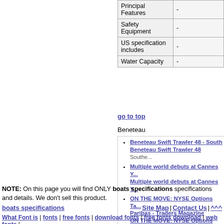| Feature | Value |
| --- | --- |
| Principal Features | - |
| Safety Equipment | - |
| US specification includes | - |
| Water Capacity | - |
go to top
Beneteau
Beneteau Swift Trawler 48 - South... Beneteau Swift Trawler 48  Southe...
Multiple world debuts at Cannes ... Multiple world debuts at Cannes ...
ON THE MOVE: NYSE Options Ta... Paribas - Traders Magazine  ON THE MOVE: NYSE Options Ta... Paribas  Traders Magazine
A Cannabis ETF and a Micro-Cap... A Cannabis ETF and a Micro-Cap...
Beneteau First 27 review: sportsh... Beneteau First 27 review: sportsh...
NOTE: On this page you will find ONLY boats specifications specifications and details. We don't sell this product.
boats specifications | Site Map | Contact Us | ^^^ | What Font is | fonts | free fonts | download fonts | free fonts download | web fonts |